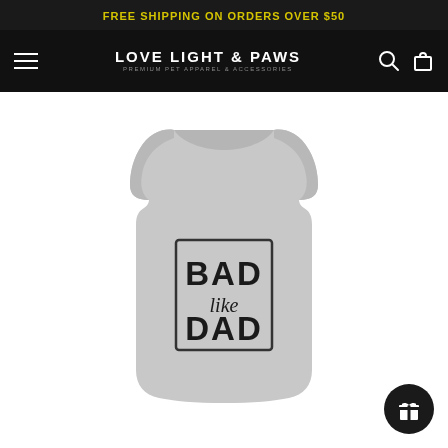FREE SHIPPING ON ORDERS OVER $50
[Figure (logo): Love Light & Paws logo - Premium Pet Apparel & Accessories, white text on black navigation bar with hamburger menu, search icon, and shopping bag icon]
[Figure (photo): Gray dog tank top / pet shirt with 'BAD like DAD' printed on the back in a black bordered rectangle design]